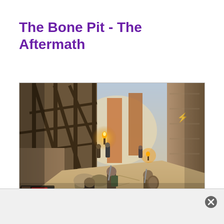The Bone Pit - The Aftermath
[Figure (screenshot): A video game screenshot showing characters in a sandy, stone-walled pit area with wooden scaffolding structures on the left, large stone pillars on the right, torches glowing, and multiple armored characters visible in the scene. A HUD with health bars is visible in the bottom-left corner.]